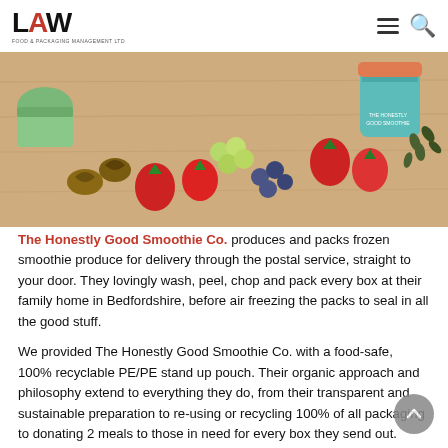LAW FOOD & PACKAGING MANAGEMENT LTD
[Figure (photo): A flat-lay photo showing assorted fruits including strawberries, blueberries, grapes, walnuts, and pumpkin seeds on a wooden surface, with a green smoothie cup and a teal jar in the background.]
The Honestly Good Smoothie Co. produces and packs frozen smoothie produce for delivery through the postal service, straight to your door. They lovingly wash, peel, chop and pack every box at their family home in Bedfordshire, before air freezing the packs to seal in all the good stuff.
We provided The Honestly Good Smoothie Co. with a food-safe, 100% recyclable PE/PE stand up pouch. Their organic approach and philosophy extend to everything they do, from their transparent and sustainable preparation to re-using or recycling 100% of all packaging to donating 2 meals to those in need for every box they send out.